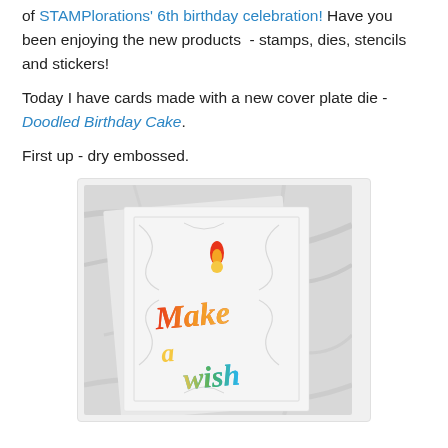of STAMPlorations' 6th birthday celebration! Have you been enjoying the new products  - stamps, dies, stencils and stickers!
Today I have cards made with a new cover plate die - Doodled Birthday Cake.
First up - dry embossed.
[Figure (photo): A birthday card on a marble background showing an embossed 'Doodled Birthday Cake' cover plate die with rainbow 'Make a wish' text and a colorful candle flame topper.]